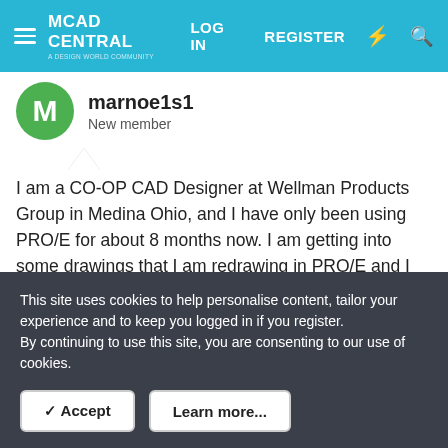MCAD CENTRAL | LOG IN | REGISTER
marnoe1s1
New member
I am a CO-OP CAD Designer at Wellman Products Group in Medina Ohio, and I have only been using PRO/E for about 8 months now. I am getting into some drawings that I am redrawing in PRO/E and I cannot figure out how to dimension between two arcs or two circles. When I try to dimension between two arcs/circles, it gives me the option between center or tangent, and I need tangent, but then it asks vertical or horizontal, well neither vertical or horizontal work for me because they both look very sloppy, and i was wondering how
This site uses cookies to help personalise content, tailor your experience and to keep you logged in if you register.
By continuing to use this site, you are consenting to our use of cookies.
✓ Accept
Learn more...